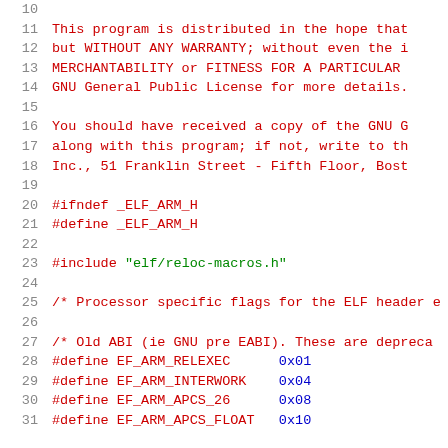Source code listing: elf-arm.h header file, lines 10-31
11    This program is distributed in the hope that
12    but WITHOUT ANY WARRANTY; without even the i
13    MERCHANTABILITY or FITNESS FOR A PARTICULAR
14    GNU General Public License for more details.
15
16    You should have received a copy of the GNU G
17    along with this program; if not, write to th
18    Inc., 51 Franklin Street - Fifth Floor, Bost
19
20  #ifndef _ELF_ARM_H
21  #define _ELF_ARM_H
22
23  #include "elf/reloc-macros.h"
24
25  /* Processor specific flags for the ELF header e
26
27  /* Old ABI (ie GNU pre EABI).  These are depreca
28  #define EF_ARM_RELEXEC      0x01
29  #define EF_ARM_INTERWORK    0x04
30  #define EF_ARM_APCS_26      0x08
31  #define EF_ARM_APCS_FLOAT   0x10